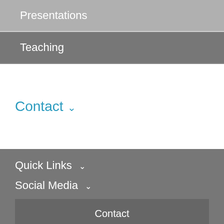Presentations
Teaching
Contact ∨
Quick Links ∨
Social Media ∨
Contact
Events